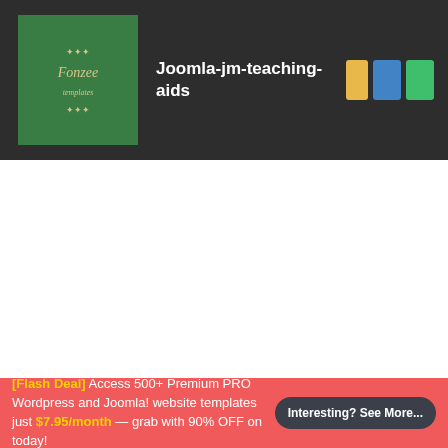Joomla-jm-teaching-aids
[Figure (logo): Green square logo with decorative script text and flourishes]
[Flash Deal] Access 500+ Premium PRO Wordpress and Joomla! website templates just $7.95/month — grab with 90% OFF on today!
Interesting? See More...